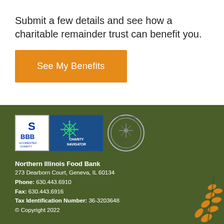Submit a few details and see how a charitable remainder trust can benefit you.
[Figure (other): Orange button labeled 'See My Benefits']
[Figure (other): BBB Accredited Charity logo, Charity Navigator logo, and 2017 Platinum Seal of Transparency logo]
Northern Illinois Food Bank
273 Dearborn Court, Geneva, IL 60134
Phone: 630.443.6910
Fax: 630.443.6916
Tax Identification Number: 36-3203648
© Copyright 2022